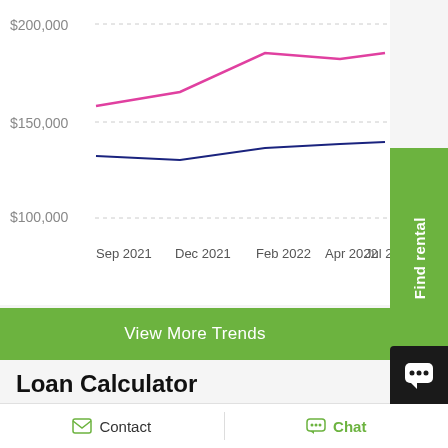[Figure (line-chart): Property price trend]
View More Trends
Loan Calculator
Property Price
$1,200